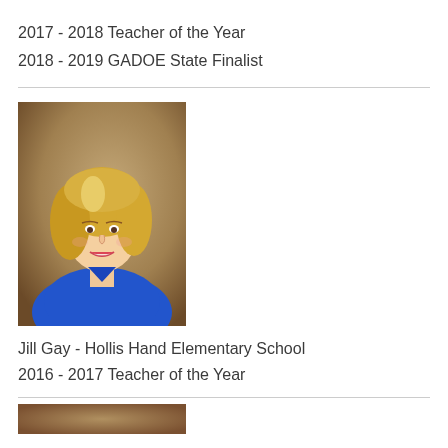2017 - 2018 Teacher of the Year
2018 - 2019 GADOE State Finalist
[Figure (photo): Professional headshot of Jill Gay, a woman with blonde hair wearing a blue top, against a brown background.]
Jill Gay - Hollis Hand Elementary School
2016 - 2017 Teacher of the Year